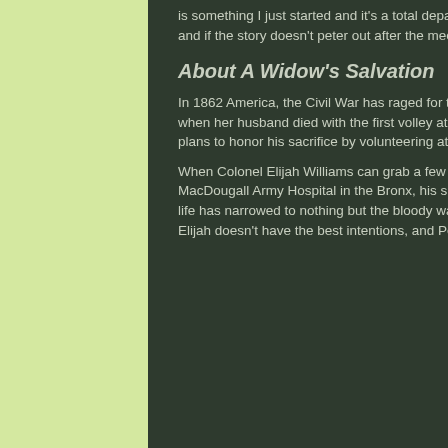is something I just started and it's a total departure for me, into category contemporary. I'll see where it goes and if the story doesn't peter out after the meet-cute part, I may submit it under a pen name.
About A Widow's Salvation
In 1862 America, the Civil War has raged for twelve months. Pepper Fitzpatrick Brown's heart was broken when her husband died with the first volley at Manassas. Now she's a widow raising three young boys and plans to honor his sacrifice by volunteering at the army hospital.
When Colonel Elijah Williams can grab a few minutes to nap between his duties as head surgeon at MacDougall Army Hospital in the Bronx, his sleep is invaded with nightmares of the atrocities he's seen. His life has narrowed to nothing but the bloody war … until he meets Pepper Brown. But her father is concerned Elijah doesn't have the best intentions, and Pepper is fearful of loving and losing again.